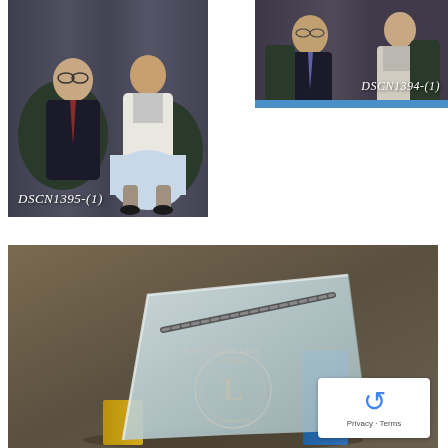[Figure (photo): Two people (an older man in dark suit and a young woman in white cardigan and light blue skirt) seated in leather armchairs in front of a dark curtain backdrop. Caption reads DSCN1395-(1).]
[Figure (photo): Two people (an older man and a woman) seated, similar setting to the left photo. Caption reads DSCN1394-(1).]
[Figure (photo): A glass crystal award trophy featuring the Forest of Dean Lions club logo (Lions International emblem) engraved on it, with gold and blue accent blocks at the base. A CAPTCHA widget appears in the bottom right corner.]